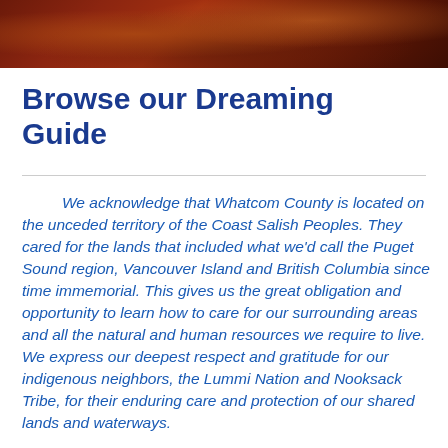[Figure (photo): Dark reddish-brown abstract textured banner image at the top of the page]
Browse our Dreaming Guide
We acknowledge that Whatcom County is located on the unceded territory of the Coast Salish Peoples. They cared for the lands that included what we'd call the Puget Sound region, Vancouver Island and British Columbia since time immemorial. This gives us the great obligation and opportunity to learn how to care for our surrounding areas and all the natural and human resources we require to live. We express our deepest respect and gratitude for our indigenous neighbors, the Lummi Nation and Nooksack Tribe, for their enduring care and protection of our shared lands and waterways.